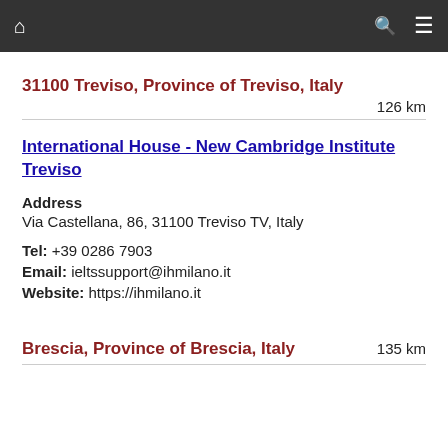🏠  🔍  ☰
31100 Treviso, Province of Treviso, Italy
126 km
International House - New Cambridge Institute Treviso
Address
Via Castellana, 86, 31100 Treviso TV, Italy
Tel: +39 0286 7903
Email: ieltssupport@ihmilano.it
Website: https://ihmilano.it
Brescia, Province of Brescia, Italy
135 km